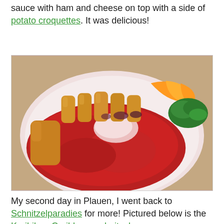sauce with ham and cheese on top with a side of potato croquettes. It was delicious!
[Figure (photo): A plate with schnitzel covered in red tomato sauce with melted cheese on top, accompanied by potato croquettes, orange slices, and green garnish on a white plate.]
My second day in Plauen, I went back to Schnitzelparadies for more! Pictured below is the Karibik or Caribbean schnitzel.